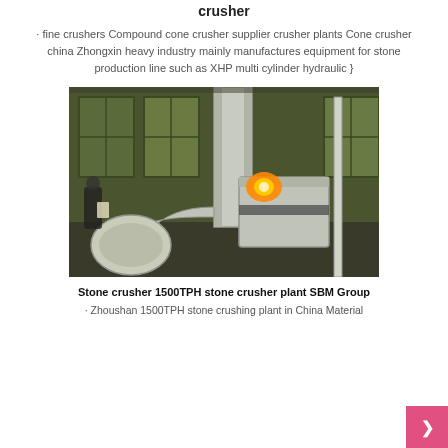crusher
· fine crushers Compound cone crusher supplier crusher plants Cone crusher china Zhongxin heavy industry mainly manufactures equipment for stone production line such as XHP multi cylinder hydraulic }
[Figure (photo): Industrial stone crusher machine in a factory/warehouse setting. Large white cylindrical cone crusher with associated ductwork and piping, with a fire/heat glow visible at the center. Workers visible at left. Dim industrial warehouse interior with large windows in background.]
Stone crusher 1500TPH stone crusher plant SBM Group
· Zhoushan 1500TPH stone crushing plant in China Material